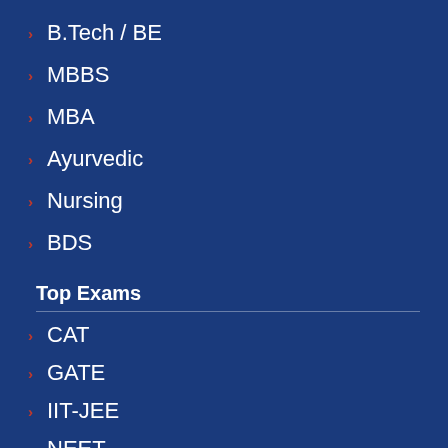B.Tech / BE
MBBS
MBA
Ayurvedic
Nursing
BDS
Top Exams
CAT
GATE
IIT-JEE
NEET